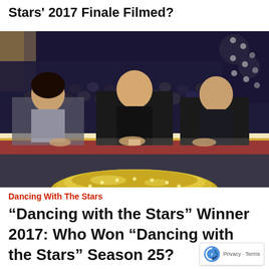Stars' 2017 Finale Filmed?
[Figure (photo): Three Dancing with the Stars judges sitting at the judges table on stage, smiling at the camera. A woman in a silver dress on the left, an older man in a tuxedo in the center, and a man in a dark suit on the right. The audience and stage lighting are visible in the background, with a glittering gold trophy/logo visible at the bottom.]
Dancing With The Stars
“Dancing with the Stars” Winner 2017: Who Won “Dancing with the Stars” Season 25?